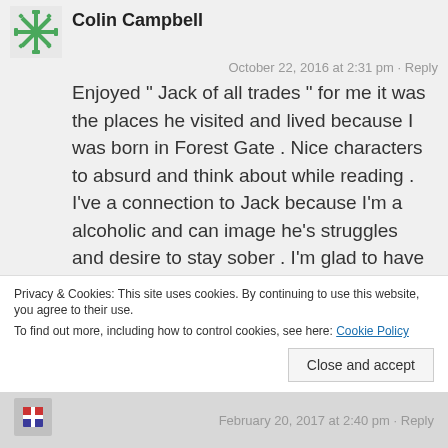Colin Campbell
October 22, 2016 at 2:31 pm · Reply
Enjoyed “ Jack of all trades ” for me it was the places he visited and lived because I was born in Forest Gate . Nice characters to absurd and think about while reading . I’ve a connection to Jack because I’m a alcoholic and can image he’s struggles and desire to stay sober . I’m glad to have found him .
Privacy & Cookies: This site uses cookies. By continuing to use this website, you agree to their use.
To find out more, including how to control cookies, see here: Cookie Policy
Close and accept
February 20, 2017 at 2:40 pm · Reply